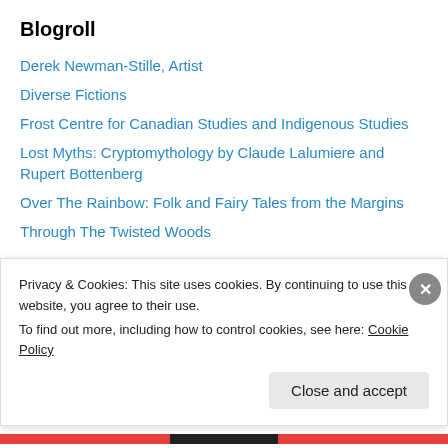Blogroll
Derek Newman-Stille, Artist
Diverse Fictions
Frost Centre for Canadian Studies and Indigenous Studies
Lost Myths: Cryptomythology by Claude Lalumiere and Rupert Bottenberg
Over The Rainbow: Folk and Fairy Tales from the Margins
Through The Twisted Woods
Canadian SF Publishers
Ash Tree Press
Privacy & Cookies: This site uses cookies. By continuing to use this website, you agree to their use.
To find out more, including how to control cookies, see here: Cookie Policy
Close and accept